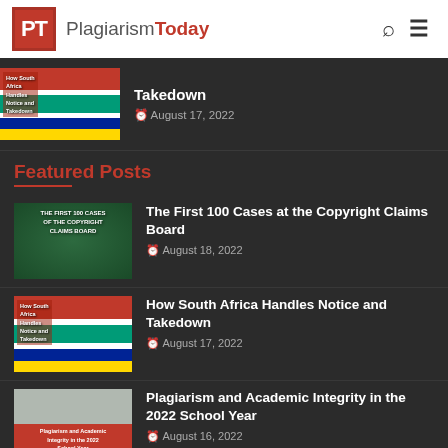[Figure (logo): PlagiarismToday website logo with red PT square icon]
Takedown
August 17, 2022
Featured Posts
The First 100 Cases at the Copyright Claims Board
August 18, 2022
How South Africa Handles Notice and Takedown
August 17, 2022
Plagiarism and Academic Integrity in the 2022 School Year
August 16, 2022